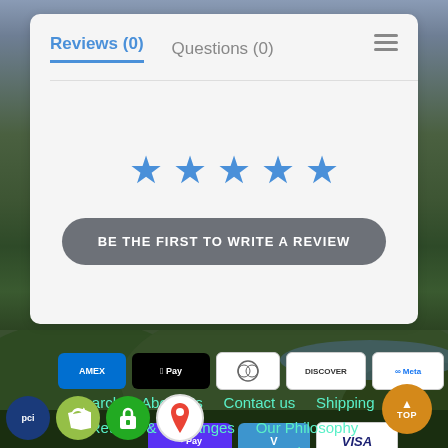[Figure (screenshot): Screenshot of a product review section with tabs 'Reviews (0)' and 'Questions (0)', five blue stars, and a 'BE THE FIRST TO WRITE A REVIEW' button on a light gray card background]
Reviews (0)
Questions (0)
[Figure (infographic): Five blue star rating icons]
BE THE FIRST TO WRITE A REVIEW
[Figure (photo): Outdoor mountain biking scene with riders on a hillside, lake and mountains in background]
[Figure (infographic): Payment method icons: AMEX, Apple Pay, Diners Club, Discover, Meta, Google Pay, Mastercard, PayPal, Shop Pay, Venmo, Visa]
Search    About Us    Contact us    Shipping
Returns & Exchanges    Our Philosophy
Photos    One_MTB YouTube
[Figure (logo): PCI compliance badge, Shopify badge, secure badge, Google Maps pin icon]
[Figure (other): Orange 'TOP' scroll-to-top button]